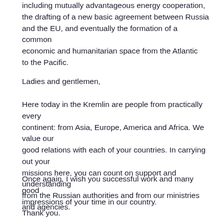including mutually advantageous energy cooperation, the drafting of a new basic agreement between Russia and the EU, and eventually the formation of a common economic and humanitarian space from the Atlantic to the Pacific.
Ladies and gentlemen,
Here today in the Kremlin are people from practically every continent: from Asia, Europe, America and Africa. We value our good relations with each of your countries. In carrying out your missions here, you can count on support and understanding from the Russian authorities and from our ministries and agencies.
Once again, I wish you successful work and many good impressions of your time in our country.
Thank you.